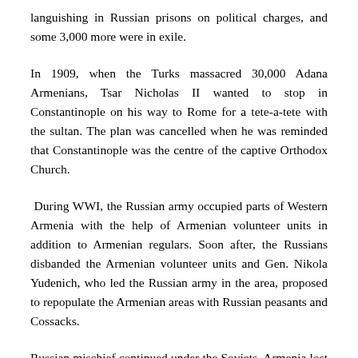languishing in Russian prisons on political charges, and some 3,000 more were in exile.
In 1909, when the Turks massacred 30,000 Adana Armenians, Tsar Nicholas II wanted to stop in Constantinople on his way to Rome for a tete-a-tete with the sultan. The plan was cancelled when he was reminded that Constantinople was the centre of the captive Orthodox Church.
During WWI, the Russian army occupied parts of Western Armenia with the help of Armenian volunteer units in addition to Armenian regulars. Soon after, the Russians disbanded the Armenian volunteer units and Gen. Nikola Yudenich, who led the Russian army in the area, proposed to repopulate the Armenian areas with Russian peasants and Cossacks.
Russian mischief continued under the Soviets. Armenia lost Nakhichevan, Artsakh, Kars, and Ardahan so that the Soviets (Lenin and